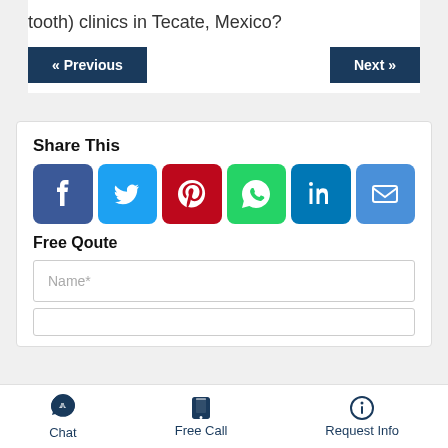tooth) clinics in Tecate, Mexico?
« Previous
Next »
Share This
[Figure (infographic): Social share icons: Facebook (blue), Twitter (light blue), Pinterest (red), WhatsApp (green), LinkedIn (teal), Email (blue)]
Free Qoute
Name*
Chat | Free Call | Request Info